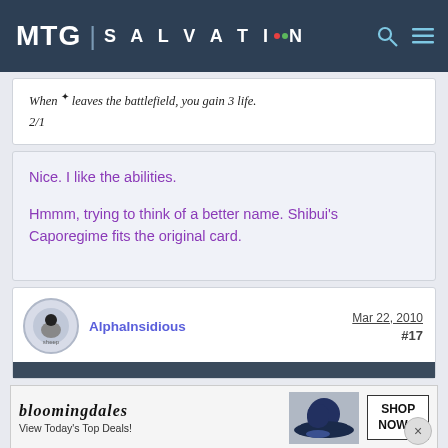MTG SALVATION
When [~] leaves the battlefield, you gain 3 life.
2/1
Nice. I like the abilities.
Hmmm, trying to think of a better name. Shibui's Caporegime fits the original card.
AlphaInsidious  Mar 22, 2010  #17
[Figure (other): Bloomingdales advertisement banner: 'bloomingdales View Today's Top Deals! SHOP NOW >']